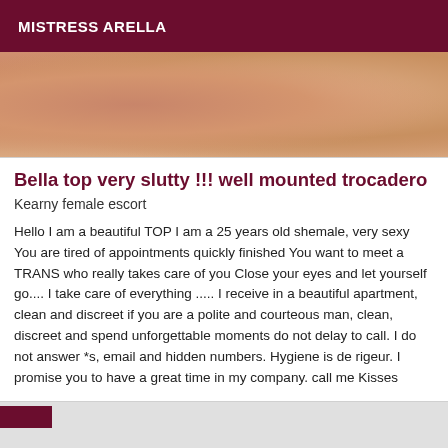MISTRESS ARELLA
[Figure (photo): Close-up photo showing skin tones in warm peach/tan colors, appears to be a partial body photo]
Bella top very slutty !!! well mounted trocadero
Kearny female escort
Hello I am a beautiful TOP I am a 25 years old shemale, very sexy You are tired of appointments quickly finished You want to meet a TRANS who really takes care of you Close your eyes and let yourself go.... I take care of everything ..... I receive in a beautiful apartment, clean and discreet if you are a polite and courteous man, clean, discreet and spend unforgettable moments do not delay to call. I do not answer *s, email and hidden numbers. Hygiene is de rigeur. I promise you to have a great time in my company. call me Kisses